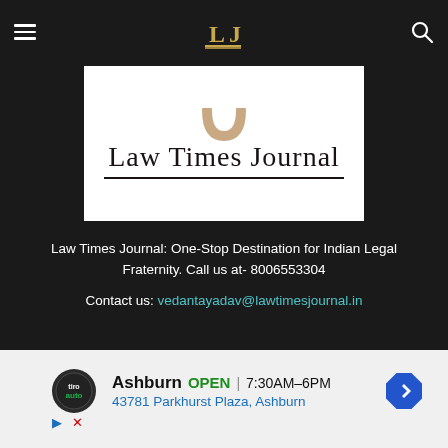Law Times Journal navigation header
[Figure (logo): Law Times Journal logo with emblem and title text, white background box]
Law Times Journal: One-Stop Destination for Indian Legal Fraternity. Call us at- 8006553304
Contact us: vedantayadav@lawtimesjournal.in
[Figure (other): Tiro Auto advertisement: Ashburn OPEN 7:30AM-6PM, 43781 Parkhurst Plaza, Ashburn]